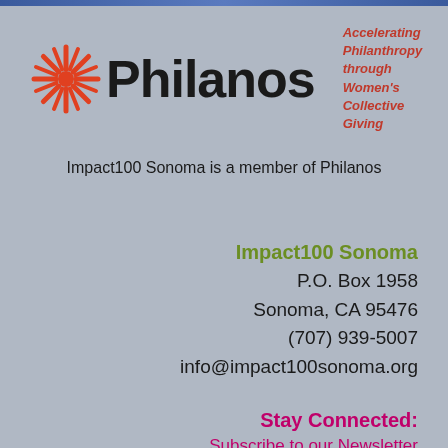[Figure (logo): Philanos logo with sunburst/asterisk icon in red/orange, bold dark text 'Philanos', vertical red divider, and italic red tagline 'Accelerating Philanthropy through Women's Collective Giving']
Impact100 Sonoma is a member of Philanos
Impact100 Sonoma
P.O. Box 1958
Sonoma, CA 95476
(707) 939-5007
info@impact100sonoma.org
Stay Connected:
Subscribe to our Newsletter
Site Map